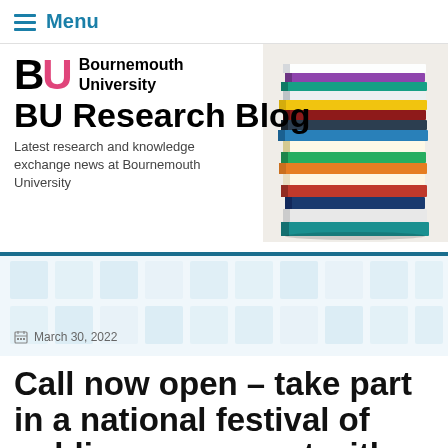Menu
BU Research Blog
Latest research and knowledge exchange news at Bournemouth University
[Figure (photo): Stack of colorful books photographed from the side against a white background]
March 30, 2022
Call now open – take part in a national festival of public engagement with